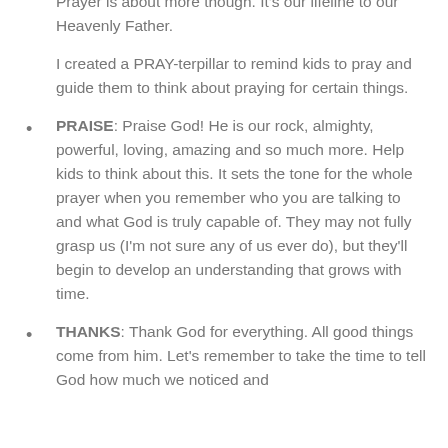Prayer is about more though. It's our lifeline to our Heavenly Father.
I created a PRAY-terpillar to remind kids to pray and guide them to think about praying for certain things.
PRAISE: Praise God! He is our rock, almighty, powerful, loving, amazing and so much more. Help kids to think about this. It sets the tone for the whole prayer when you remember who you are talking to and what God is truly capable of. They may not fully grasp us (I'm not sure any of us ever do), but they'll begin to develop an understanding that grows with time.
THANKS: Thank God for everything. All good things come from him. Let's remember to take the time to tell God how much we noticed and